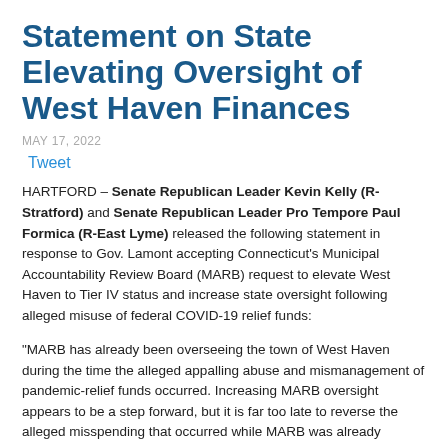Statement on State Elevating Oversight of West Haven Finances
MAY 17, 2022
Tweet
HARTFORD – Senate Republican Leader Kevin Kelly (R-Stratford) and Senate Republican Leader Pro Tempore Paul Formica (R-East Lyme) released the following statement in response to Gov. Lamont accepting Connecticut's Municipal Accountability Review Board (MARB) request to elevate West Haven to Tier IV status and increase state oversight following alleged misuse of federal COVID-19 relief funds:
“MARB has already been overseeing the town of West Haven during the time the alleged appalling abuse and mismanagement of pandemic-relief funds occurred. Increasing MARB oversight appears to be a step forward, but it is far too late to reverse the alleged misspending that occurred while MARB was already providing oversight. If this could happen in